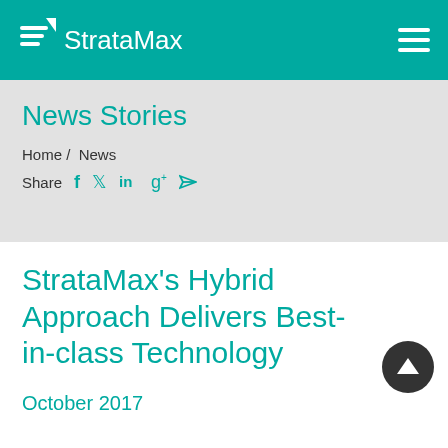StrataMax
News Stories
Home / News
Share
StrataMax's Hybrid Approach Delivers Best-in-class Technology
October 2017